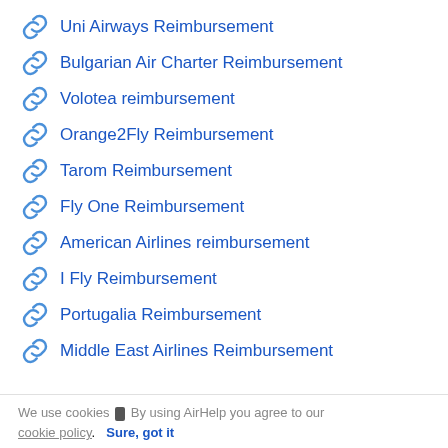Uni Airways Reimbursement
Bulgarian Air Charter Reimbursement
Volotea reimbursement
Orange2Fly Reimbursement
Tarom Reimbursement
Fly One Reimbursement
American Airlines reimbursement
I Fly Reimbursement
Portugalia Reimbursement
Middle East Airlines Reimbursement
We use cookies ▮ By using AirHelp you agree to our cookie policy.  Sure, got it